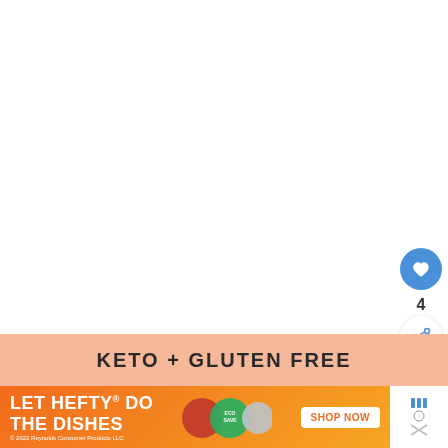[Figure (other): White content area - main page body (likely recipe image above the fold, not visible in this crop)]
[Figure (other): Blue circular like/favorite button with heart icon]
4
[Figure (other): White circular share button with share icon]
[Figure (other): What's Next card with thumbnail image and text: WHAT'S NEXT → 35 Easy Keto Breakfast...]
KETO + GLUTEN FREE
[Figure (other): Advertisement banner: LET HEFTY DO THE DISHES - Hefty/EcoSave product ad with SHOP NOW button. © 2022 Reynolds Consumer Products LLC]